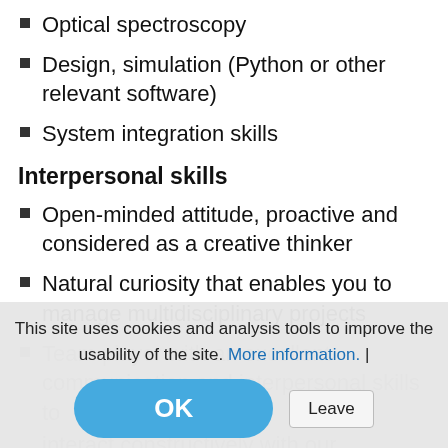Optical spectroscopy
Design, simulation (Python or other relevant software)
System integration skills
Interpersonal skills
Open-minded attitude, proactive and considered as a creative thinker
Natural curiosity that enables you to manage multidisciplinary projects
Team player with an excellent communication and interpersonal skills to
interact constructively with our colleagues and partners.
Fluency in English. French or … would be an asset CSEM's mission and
This site uses cookies and analysis tools to improve the usability of the site. More information. | OK  Leave